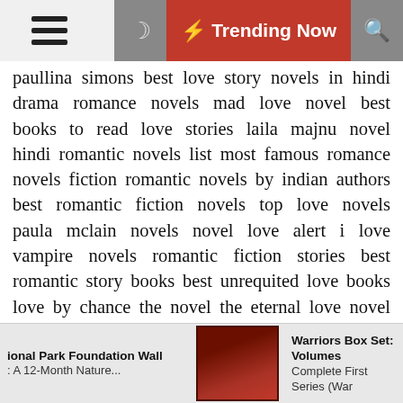☰ ☽ ⚡ Trending Now 🔍
paullina simons best love story novels in hindi drama romance novels mad love novel best books to read love stories laila majnu novel hindi romantic novels list most famous romance novels fiction romantic novels by indian authors best romantic fiction novels top love novels paula mclain novels novel love alert i love vampire novels romantic fiction stories best romantic story books best unrequited love books love by chance the novel the eternal love novel best romantic novels to read in english most romantic novels in english 2018 best romance novels novel stalker in love novel love in sunset romantic novels of all time romance stories free online read love story novel in english online reading novel dark love heartwarming romance novels new love story books famous romantic novels in english best romantic books by indian authors unrequited love books 2018 short romance novels online free reading love novels indian books to read love story love story novel online love triangle romance novels true love novels best love story novels 2018 billionaire love stories free online best
ional Park Foundation Wall : A 12-Month Nature...  Warriors Box Set: Volumes Complete First Series (War